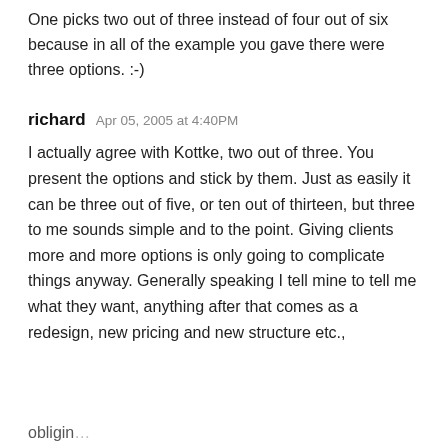One picks two out of three instead of four out of six because in all of the example you gave there were three options. :-)
richard   Apr 05, 2005 at 4:40PM
I actually agree with Kottke, two out of three. You present the options and stick by them. Just as easily it can be three out of five, or ten out of thirteen, but three to me sounds simple and to the point. Giving clients more and more options is only going to complicate things anyway. Generally speaking I tell mine to tell me what they want, anything after that comes as a redesign, new pricing and new structure etc.,
obligin...